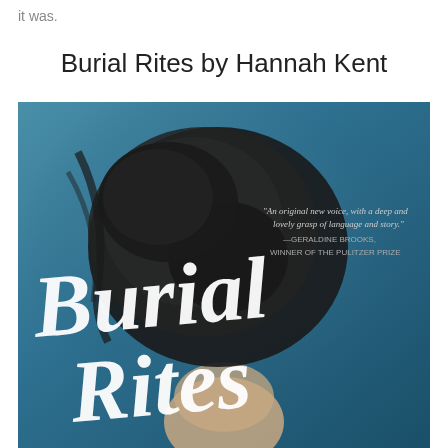it was.
Burial Rites by Hannah Kent
[Figure (photo): Book cover of 'Burial Rites' by Hannah Kent. Shows the back of a woman's head with dark hair pinned up, against a teal/blue background. White cursive text reads 'Burial Rites' across the cover. A quote reads: 'An original new voice, with a deep and lovely grasp of language and story.' —GERALDINE BROOKS, WINNER OF THE PULITZER PRIZE]